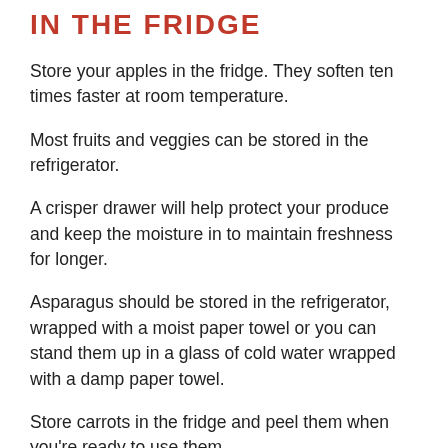IN THE FRIDGE
Store your apples in the fridge. They soften ten times faster at room temperature.
Most fruits and veggies can be stored in the refrigerator.
A crisper drawer will help protect your produce and keep the moisture in to maintain freshness for longer.
Asparagus should be stored in the refrigerator, wrapped with a moist paper towel or you can stand them up in a glass of cold water wrapped with a damp paper towel.
Store carrots in the fridge and peel them when you're ready to use them.
Plastic bags with tiny vents help keep produce fresh longer by releasing moisture. They are great for